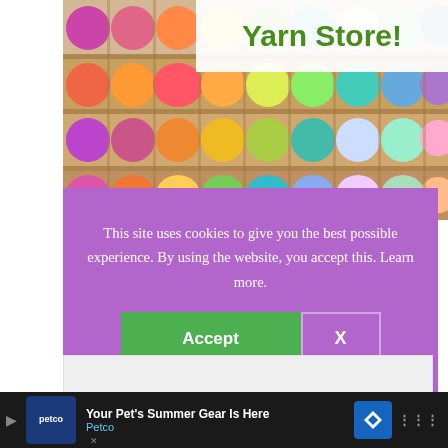[Figure (photo): Colorful skeins of yarn arranged on wooden shelves in a yarn store, with multiple colors visible including pink, orange, yellow, green, teal, and purple.]
Yarn Store!
This site uses cookies to give you the best possible experience. By using the website, you accept this. Learn more.
emotionally, I'm just at the yarn store!
[Figure (other): Gray content placeholder box]
Your Pet's Summer Gear Is Here  Petco